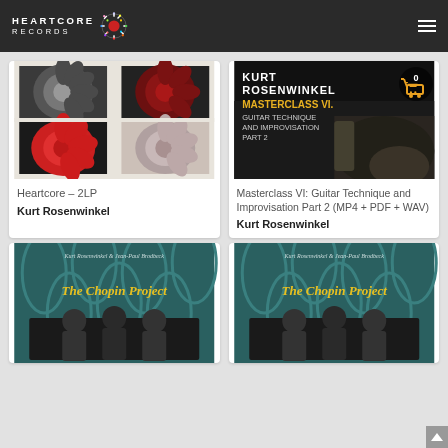HEARTCORE RECORDS
[Figure (screenshot): Heartcore 2LP album cover: four-panel grid showing flower photographs in black, white, and red tones]
Heartcore – 2LP
Kurt Rosenwinkel
[Figure (screenshot): Kurt Rosenwinkel Masterclass VI Guitar Technique and Improvisation Part 2 – DVD/video cover with guitarist and shopping cart overlay icon showing 0]
Masterclass VI: Guitar Technique and Improvisation Part 2 (MP4 + PDF + WAV)
Kurt Rosenwinkel
[Figure (screenshot): The Chopin Project by Kurt Rosenwinkel & Jean-Paul Brodbeck – album cover with decorative wallpaper and band photo]
[Figure (screenshot): The Chopin Project by Kurt Rosenwinkel & Jean-Paul Brodbeck – second album cover variant]